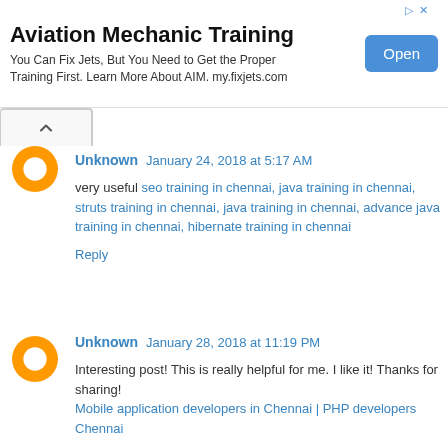[Figure (other): Advertisement banner: Aviation Mechanic Training with Open button]
Unknown January 24, 2018 at 5:17 AM
very useful seo training in chennai, java training in chennai, struts training in chennai, java training in chennai, advance java training in chennai, hibernate training in chennai
Reply
Unknown January 28, 2018 at 11:19 PM
Interesting post! This is really helpful for me. I like it! Thanks for sharing! Mobile application developers in Chennai | PHP developers Chennai
Reply